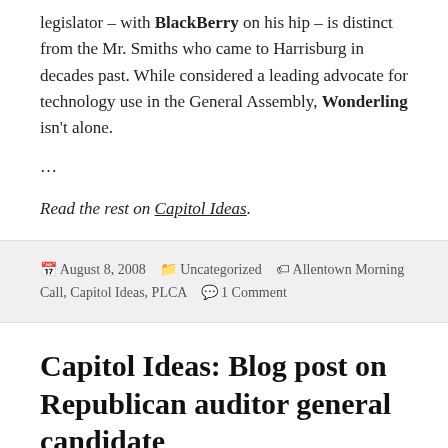legislator – with BlackBerry on his hip – is distinct from the Mr. Smiths who came to Harrisburg in decades past. While considered a leading advocate for technology use in the General Assembly, Wonderling isn't alone.
...
Read the rest on Capitol Ideas.
August 8, 2008   Uncategorized   Allentown Morning Call, Capitol Ideas, PLCA   1 Comment
Capitol Ideas: Blog post on Republican auditor general candidate